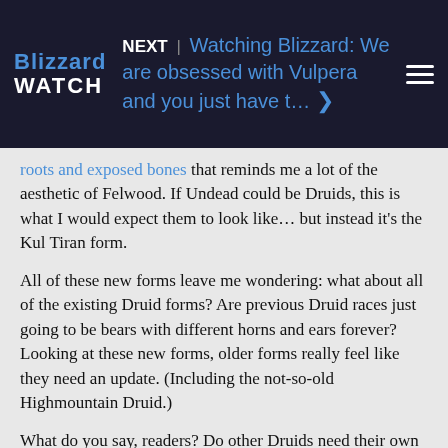NEXT | Watching Blizzard: We are obsessed with Vulpera and you just have t…
roots and exposed bones that reminds me a lot of the aesthetic of Felwood. If Undead could be Druids, this is what I would expect them to look like… but instead it's the Kul Tiran form.
All of these new forms leave me wondering: what about all of the existing Druid forms? Are previous Druid races just going to be bears with different horns and ears forever? Looking at these new forms, older forms really feel like they need an update. (Including the not-so-old Highmountain Druid.)
What do you say, readers? Do other Druids need their own unique forms? Or are we all just going to be rolling new races to get the newest, niftiest Druid forms available?